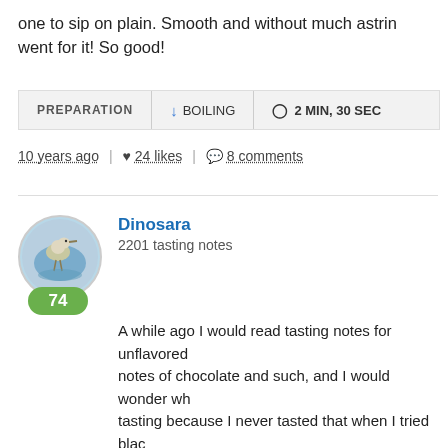one to sip on plain. Smooth and without much astrin went for it! So good!
| PREPARATION | BOILING | 2 MIN, 30 SEC |
| --- | --- | --- |
10 years ago | 24 likes | 8 comments
Dinosara
2201 tasting notes
A while ago I would read tasting notes for unflavored notes of chocolate and such, and I would wonder wh tasting because I never tasted that when I tried blac tea at the Harney Soho store ages ago after reading didn't really get it. Now I've gotten into Tan Yangs an I've come across a lot of tasting notes about Tan Yan tea is like a Keemun minus the smoke. Thanks to Si Keemun again now and make the comparisons!